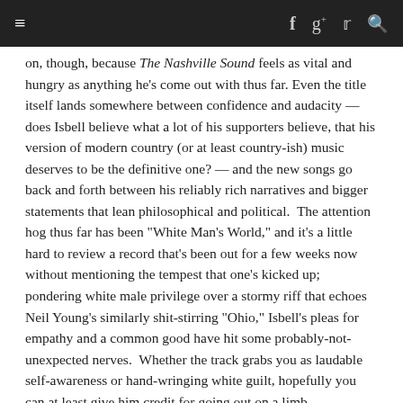≡   f  g+  🐦  🔍
on, though, because The Nashville Sound feels as vital and hungry as anything he's come out with thus far. Even the title itself lands somewhere between confidence and audacity — does Isbell believe what a lot of his supporters believe, that his version of modern country (or at least country-ish) music deserves to be the definitive one? — and the new songs go back and forth between his reliably rich narratives and bigger statements that lean philosophical and political.  The attention hog thus far has been "White Man's World," and it's a little hard to review a record that's been out for a few weeks now without mentioning the tempest that one's kicked up; pondering white male privilege over a stormy riff that echoes Neil Young's similarly shit-stirring "Ohio," Isbell's pleas for empathy and a common good have hit some probably-not-unexpected nerves.  Whether the track grabs you as laudable self-awareness or hand-wringing white guilt, hopefully you can at least give him credit for going out on a limb.
Isbell and his band, the 400 Unit, aren't playing it terribly safe musically, either. There's some sweatier, noisier rock 'n' roll than